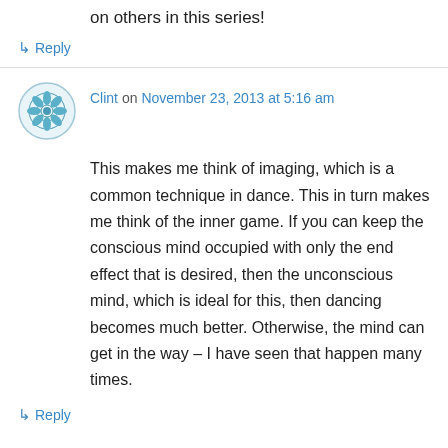on others in this series!
↳ Reply
Clint on November 23, 2013 at 5:16 am
This makes me think of imaging, which is a common technique in dance. This in turn makes me think of the inner game. If you can keep the conscious mind occupied with only the end effect that is desired, then the unconscious mind, which is ideal for this, then dancing becomes much better. Otherwise, the mind can get in the way – I have seen that happen many times.
↳ Reply